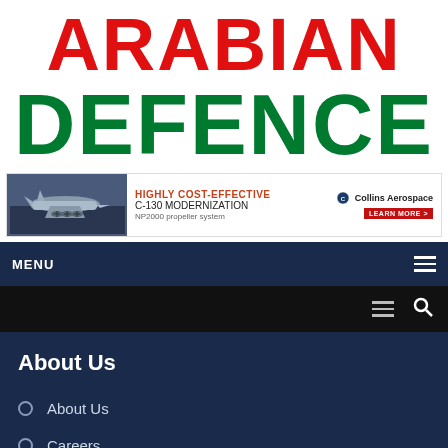ARABIAN DEFENCE
[Figure (screenshot): Collins Aerospace advertisement banner for C-130 Modernization with aircraft image]
MENU
About Us
About Us
Careers
Advertise With Us
Subscribe